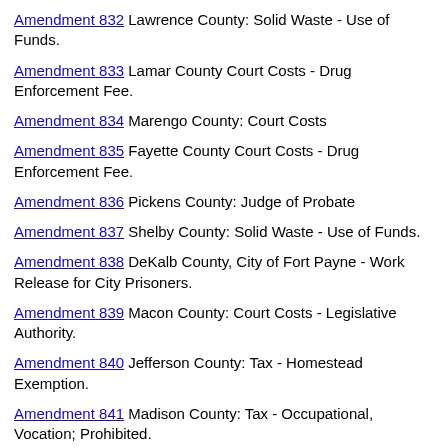Amendment 832 Lawrence County: Solid Waste - Use of Funds.
Amendment 833 Lamar County Court Costs - Drug Enforcement Fee.
Amendment 834 Marengo County: Court Costs
Amendment 835 Fayette County Court Costs - Drug Enforcement Fee.
Amendment 836 Pickens County: Judge of Probate
Amendment 837 Shelby County: Solid Waste - Use of Funds.
Amendment 838 DeKalb County, City of Fort Payne - Work Release for City Prisoners.
Amendment 839 Macon County: Court Costs - Legislative Authority.
Amendment 840 Jefferson County: Tax - Homestead Exemption.
Amendment 841 Madison County: Tax - Occupational, Vocation; Prohibited.
Amendment 842 Monroe County: Tax - Occupational, Vocation...